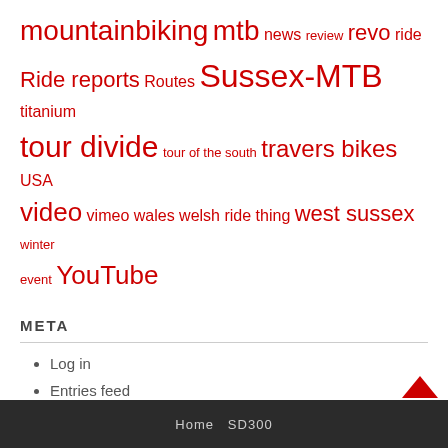mountainbiking mtb news review revo ride Ride reports Routes Sussex-MTB titanium tour divide tour of the south travers bikes USA video vimeo wales welsh ride thing west sussex winter event YouTube
META
Log in
Entries feed
Comments feed
WordPress.org
Home  SD300